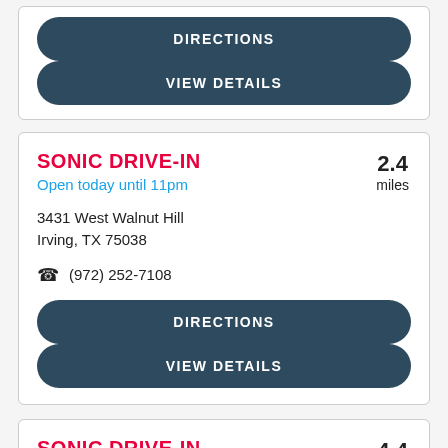DIRECTIONS
VIEW DETAILS
SONIC DRIVE-IN
Open today until 11pm
2.4 miles
3431 West Walnut Hill
Irving, TX 75038
(972) 252-7108
DIRECTIONS
VIEW DETAILS
SONIC DRIVE-IN
Open today until 11pm
4.4 miles